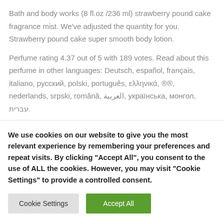Bath and body works (8 fl.oz /236 ml) strawberry pound cake fragrance mist. We've adjusted the quantity for you. Strawberry pound cake super smooth body lotion.
Perfume rating 4.37 out of 5 with 189 votes. Read about this perfume in other languages: Deutsch, español, français, italiano, русский, polski, português, ελληνικά, 한국어, nederlands, srpski, română, العربية, українська, монгол, עברית.
We use cookies on our website to give you the most relevant experience by remembering your preferences and repeat visits. By clicking "Accept All", you consent to the use of ALL the cookies. However, you may visit "Cookie Settings" to provide a controlled consent.